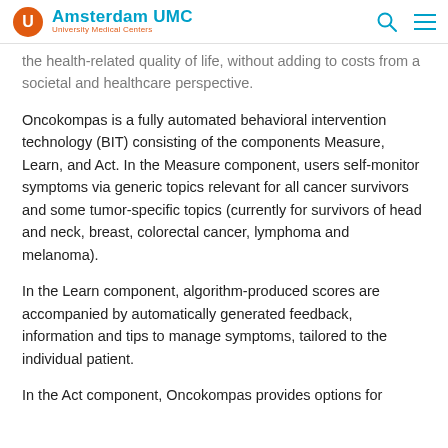Amsterdam UMC | University Medical Centers
the health-related quality of life, without adding to costs from a societal and healthcare perspective.
Oncokompas is a fully automated behavioral intervention technology (BIT) consisting of the components Measure, Learn, and Act. In the Measure component, users self-monitor symptoms via generic topics relevant for all cancer survivors and some tumor-specific topics (currently for survivors of head and neck, breast, colorectal cancer, lymphoma and melanoma).
In the Learn component, algorithm-produced scores are accompanied by automatically generated feedback, information and tips to manage symptoms, tailored to the individual patient.
In the Act component, Oncokompas provides options for